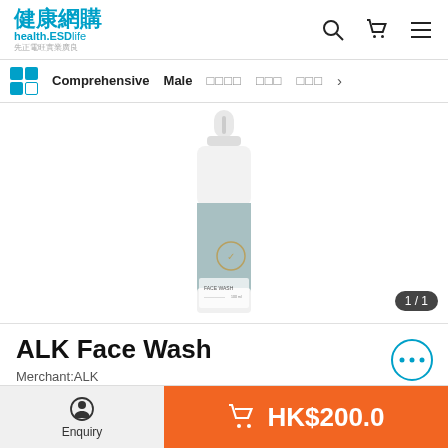健康網購 health.ESDlife 先正電旺實業廣良
[Figure (screenshot): Navigation bar with grid icon, Comprehensive, Male, and Chinese category links with arrow]
[Figure (photo): ALK Face Wash product bottle with white top dispenser pump and light blue/grey body, partially visible label reading FACE WASH]
1 / 1
ALK Face Wash
Merchant: ALK
Enquiry   HK$200.0